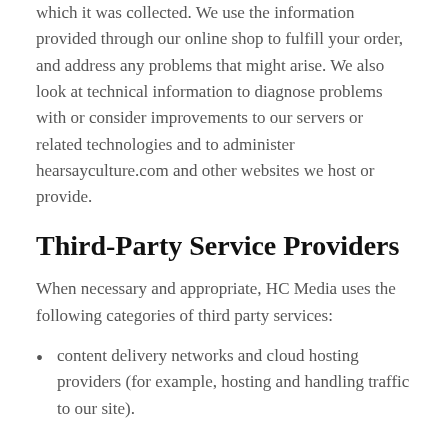which it was collected. We use the information provided through our online shop to fulfill your order, and address any problems that might arise. We also look at technical information to diagnose problems with or consider improvements to our servers or related technologies and to administer hearsayculture.com and other websites we host or provide.
Third-Party Service Providers
When necessary and appropriate, HC Media uses the following categories of third party services:
content delivery networks and cloud hosting providers (for example, hosting and handling traffic to our site).